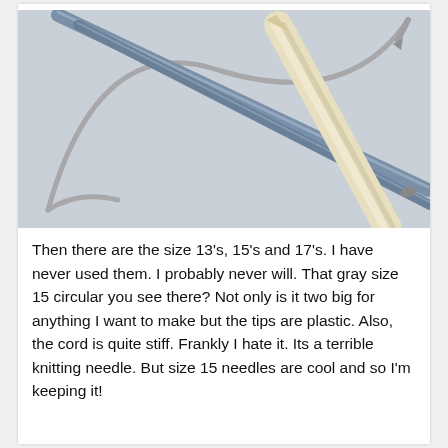[Figure (photo): Photograph of large knitting needles including a gray size 15 circular needle with stiff plastic cord and a large cream/ivory colored straight knitting needle, arranged on a light gray fabric background.]
Then there are the size 13's, 15's and 17's. I have never used them. I probably never will. That gray size 15 circular you see there? Not only is it two big for anything I want to make but the tips are plastic. Also, the cord is quite stiff. Frankly I hate it. Its a terrible knitting needle. But size 15 needles are cool and so I'm keeping it!